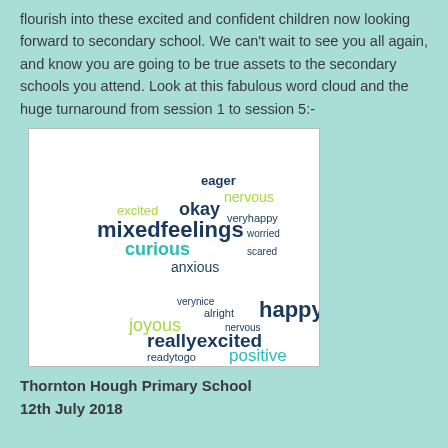flourish into these excited and confident children now looking forward to secondary school.  We can't wait to see you all again, and know you are going to be true assets to the secondary schools you attend.  Look at this fabulous word cloud and the huge turnaround from session 1 to session 5:-
[Figure (other): Word cloud image showing two groups of words. Top group (session 1): eager, nervous, excited, okay, veryhappy, mixedfeelings, worried, curious, scared, anxious. Bottom group (session 5): verynice, alright, happy, joyous, nervous, reallyexcited, readytogo, positive, mixedfeelings. Words appear in dark navy, teal/cyan, and yellow-green colors.]
Thornton Hough Primary School
12th July 2018